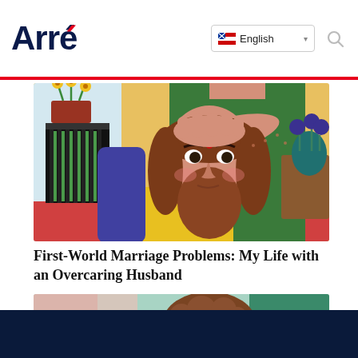Arré
[Figure (illustration): Illustration of a woman with long brown wavy hair sitting with a displeased expression while a person in a green shirt stands behind her with one hand on her head, in a colorful indoor setting with plants and furniture.]
First-World Marriage Problems: My Life with an Overcaring Husband
[Figure (illustration): Partial illustration showing a woman with brown curly hair and a red bindi, wearing a yellow flower in her hair, with a serious expression, set against a teal/green background with purple leaves.]